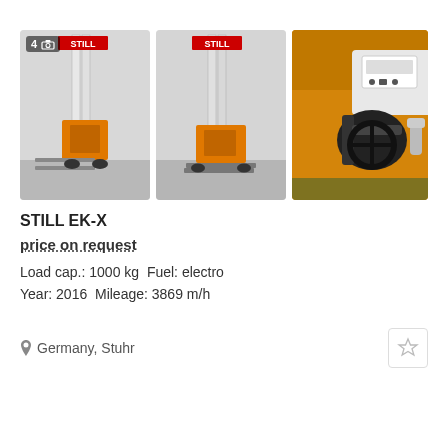[Figure (photo): Three photos of a STILL EK-X electric forklift/order picker. Left: front-angle view showing orange forklift with forks extended, STILL logo on mast, badge showing '4' and camera icon. Middle: side/rear angle of the same forklift. Right: close-up of the operator cockpit/dashboard showing steering wheel and controls.]
STILL EK-X
price on request
Load cap.: 1000 kg  Fuel: electro
Year: 2016  Mileage: 3869 m/h
Germany, Stuhr